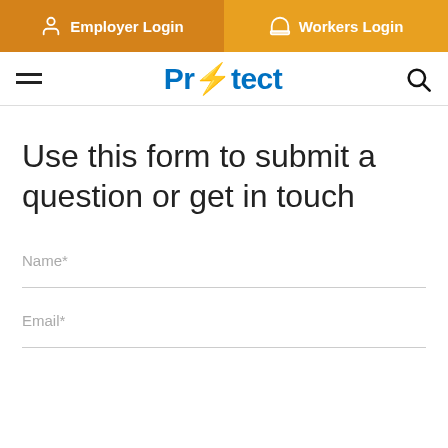Employer Login | Workers Login
[Figure (logo): Protect brand logo with lightning bolt replacing letter t]
Use this form to submit a question or get in touch
Name*
Email*